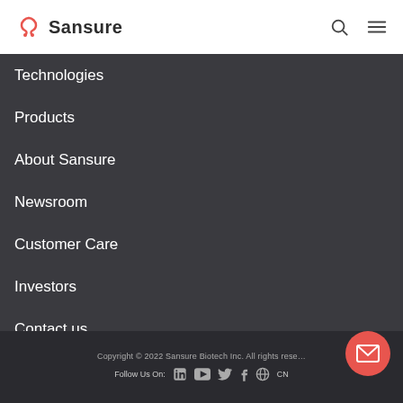[Figure (logo): Sansure Biotech logo with red emblem and text 'Sansure']
Technologies
Products
About Sansure
Newsroom
Customer Care
Investors
Contact us
Copyright © 2022 Sansure Biotech Inc. All rights reserved. Follow Us On: CN
[Figure (illustration): Mail/envelope icon button on salmon/coral circular button]